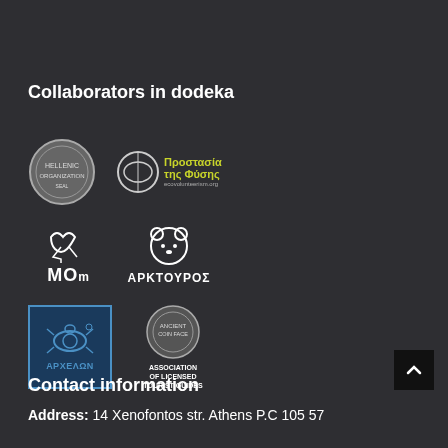Collaborators in dodeka
[Figure (logo): Six partner organization logos: a circular institutional seal, Prostasia tis Fisys (nature protection), MOM (Hellenic Society for the Study and Protection of the Monk Seal), Arctouros bear conservation logo, ARCHELON sea turtle protection society, and Association of Licensed Tourist Guides]
Contact information
Address: 14 Xenofontos str. Athens P.C 105 57